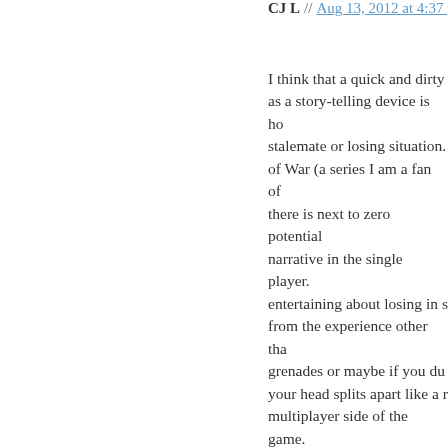CJ L // Aug 13, 2012 at 4:37 pm
I think that a quick and dirty as a story-telling device is ho stalemate or losing situation. of War (a series I am a fan of there is next to zero potential narrative in the single player. entertaining about losing in s from the experience other tha grenades or maybe if you du your head splits apart like a r multiplayer side of the game. memorable experience. “I ran down this tunnel and t who promptly murdered me. ran back to the tunnel and hu